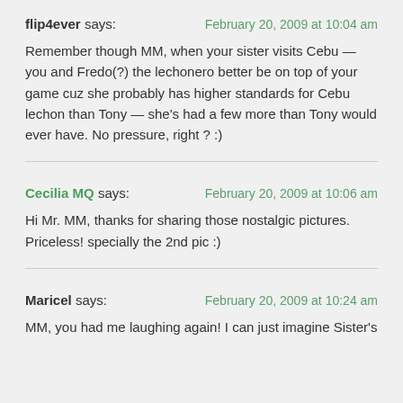flip4ever says: February 20, 2009 at 10:04 am
Remember though MM, when your sister visits Cebu — you and Fredo(?) the lechonero better be on top of your game cuz she probably has higher standards for Cebu lechon than Tony — she's had a few more than Tony would ever have. No pressure, right ? :)
Cecilia MQ says: February 20, 2009 at 10:06 am
Hi Mr. MM, thanks for sharing those nostalgic pictures. Priceless! specially the 2nd pic :)
Maricel says: February 20, 2009 at 10:24 am
MM, you had me laughing again! I can just imagine Sister's